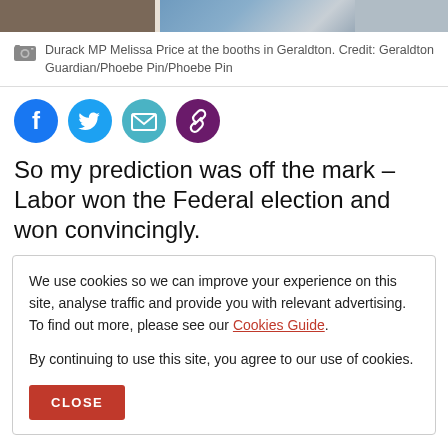[Figure (photo): Photo strip at top of webpage showing people at election booths in Geraldton, partially cropped]
Durack MP Melissa Price at the booths in Geraldton. Credit: Geraldton Guardian/Phoebe Pin/Phoebe Pin
[Figure (infographic): Social media sharing buttons: Facebook, Twitter, Email, Link]
So my prediction was off the mark – Labor won the Federal election and won convincingly.
We use cookies so we can improve your experience on this site, analyse traffic and provide you with relevant advertising. To find out more, please see our Cookies Guide.

By continuing to use this site, you agree to our use of cookies.

CLOSE
Politics is a dirty game and this election was no